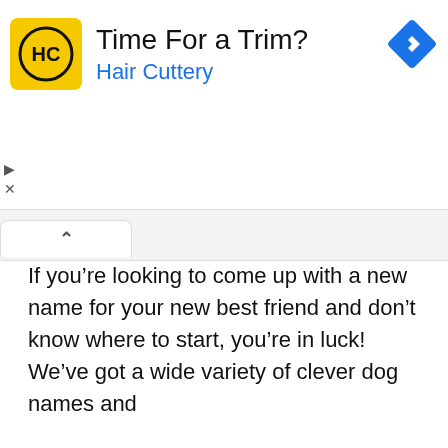[Figure (infographic): Hair Cuttery advertisement banner. Yellow square logo with 'HC' text and circle design. Ad reads 'Time For a Trim?' with 'Hair Cuttery' in blue. Blue navigation diamond icon on the right. Play and X controls on the left side.]
[Figure (screenshot): Browser tab chrome area with a white active tab showing a chevron/caret up symbol]
If you’re looking to come up with a new name for your new best friend and don’t know where to start, you’re in luck! We’ve got a wide variety of clever dog names and